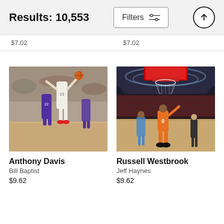Results: 10,553
$7.02   $7.02
[Figure (photo): Basketball photo of Anthony Davis shooting over a defender wearing #22 in a purple Phoenix Suns uniform]
Anthony Davis
Bill Baptist
$9.62
[Figure (photo): Basketball photo of Russell Westbrook (#0) in orange OKC Thunder uniform shooting at a basket in a packed arena]
Russell Westbrook
Jeff Haynes
$9.62